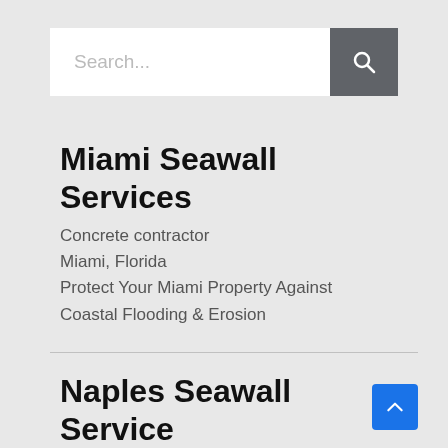[Figure (screenshot): Search bar with placeholder text 'Search...' and a dark grey search button with magnifying glass icon]
Miami Seawall Services
Concrete contractor
Miami, Florida
Protect Your Miami Property Against Coastal Flooding & Erosion
Naples Seawall Service
Dock builder
Naples, Florida
Making Your Property Feel Safe